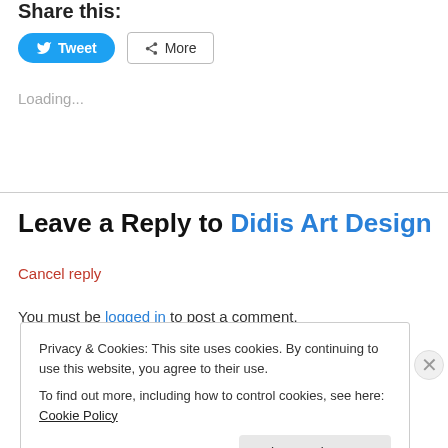Share this:
[Figure (screenshot): Tweet and More share buttons]
Loading...
Leave a Reply to Didis Art Design
Cancel reply
You must be logged in to post a comment.
Privacy & Cookies: This site uses cookies. By continuing to use this website, you agree to their use. To find out more, including how to control cookies, see here: Cookie Policy
Close and accept